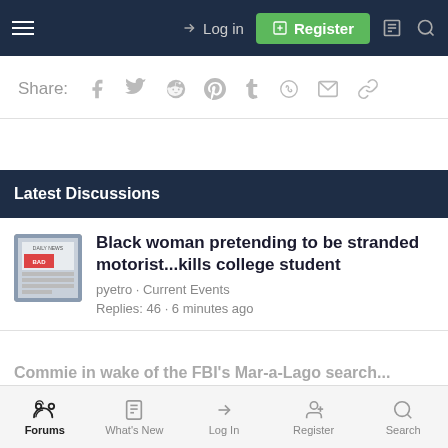Log in  Register
Share:
Latest Discussions
Black woman pretending to be stranded motorist...kills college student
pyetro · Current Events
Replies: 46 · 6 minutes ago
Another American Captured Defending Nazi Regime.
Vastator · USMB Breaking News
Replies: 43 · 7 minutes ago
Forums  What's New  Log In  Register  Search